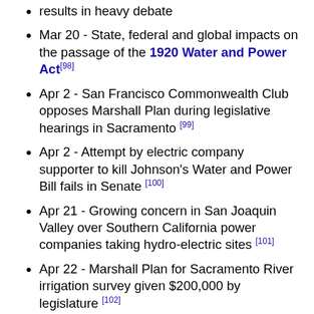results in heavy debate
Mar 20 - State, federal and global impacts on the passage of the 1920 Water and Power Act [98]
Apr 2 - San Francisco Commonwealth Club opposes Marshall Plan during legislative hearings in Sacramento [99]
Apr 2 - Attempt by electric company supporter to kill Johnson's Water and Power Bill fails in Senate [100]
Apr 21 - Growing concern in San Joaquin Valley over Southern California power companies taking hydro-electric sites [101]
Apr 22 - Marshall Plan for Sacramento River irrigation survey given $200,000 by legislature [102]
Apr 26 - Johnson Power & Water Bill 397 loses by 4 votes in assembly committee [103]
Apr 28 - Municipal Utility District Act